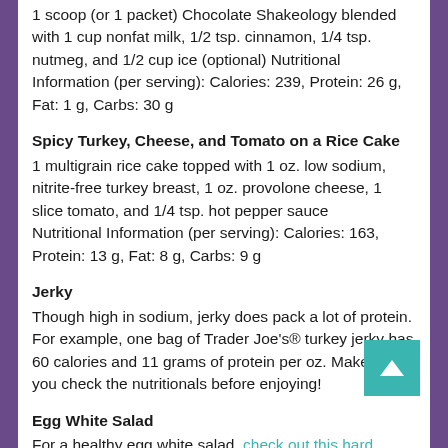1 scoop (or 1 packet) Chocolate Shakeology blended with 1 cup nonfat milk, 1/2 tsp. cinnamon, 1/4 tsp. nutmeg, and 1/2 cup ice (optional) Nutritional Information (per serving): Calories: 239, Protein: 26 g, Fat: 1 g, Carbs: 30 g
Spicy Turkey, Cheese, and Tomato on a Rice Cake
1 multigrain rice cake topped with 1 oz. low sodium, nitrite-free turkey breast, 1 oz. provolone cheese, 1 slice tomato, and 1/4 tsp. hot pepper sauce
Nutritional Information (per serving): Calories: 163, Protein: 13 g, Fat: 8 g, Carbs: 9 g
Jerky
Though high in sodium, jerky does pack a lot of protein. For example, one bag of Trader Joe's® turkey jerky has 60 calories and 11 grams of protein per oz. Make sure you check the nutritionals before enjoying!
Egg White Salad
For a healthy egg white salad, check out this hard